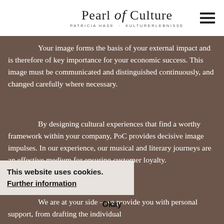Pearl of Culture — PATRICIA HASE · KULTURERLEBNISSE
Your image forms the basis of your external impact and is therefore of key importance for your economic success. This image must be communicated and distinguished continuously, and changed carefully where necessary.
By designing cultural experiences that find a worthy framework within your company, PoC provides decisive image impulses. In our experience, our musical and literary journeys are an effective medium for ensuring customer loyalty.
We are at your side – we provide you with personal support, from drafting the individual concept to the complete realisation of and
This website uses cookies.
Further information
Okay